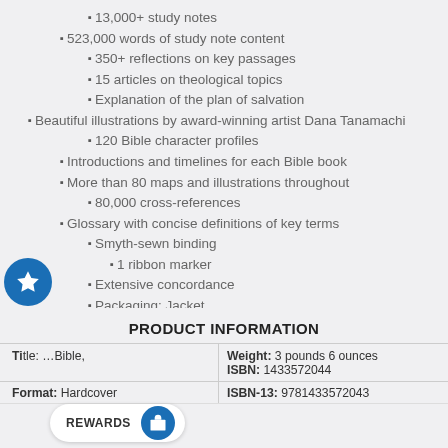13,000+ study notes
523,000 words of study note content
350+ reflections on key passages
15 articles on theological topics
Explanation of the plan of salvation
Beautiful illustrations by award-winning artist Dana Tanamachi
120 Bible character profiles
Introductions and timelines for each Bible book
More than 80 maps and illustrations throughout
80,000 cross-references
Glossary with concise definitions of key terms
Smyth-sewn binding
1 ribbon marker
Extensive concordance
Packaging: Jacket
PRODUCT INFORMATION
| Title | Weight | ISBN | Format | ISBN-13 |
| --- | --- | --- | --- | --- |
| …Bible, | 3 pounds 6 ounces | 1433572044 | Hardcover | 9781433572043 |